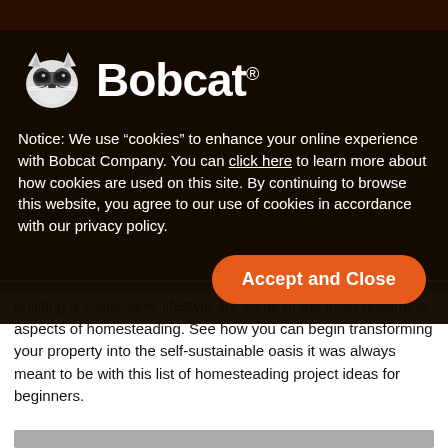[Figure (screenshot): Bobcat Company website cookie consent modal overlay on a dark background. Contains the Bobcat logo (bobcat animal icon + 'Bobcat.' wordmark in white), a cookie notice paragraph with a 'click here' hyperlink, and an orange 'Accept and Close' button. Below the modal, partial article text about homesteading is visible on a white background.]
Notice: We use “cookies” to enhance your online experience with Bobcat Company. You can click here to learn more about how cookies are used on this site. By continuing to browse this website, you agree to our use of cookies in accordance with our privacy policy.
Accept and Close
building a sustainable lifestyle are some of the most rewarding aspects of homesteading. See how you can begin transforming your property into the self-sustainable oasis it was always meant to be with this list of homesteading project ideas for beginners.